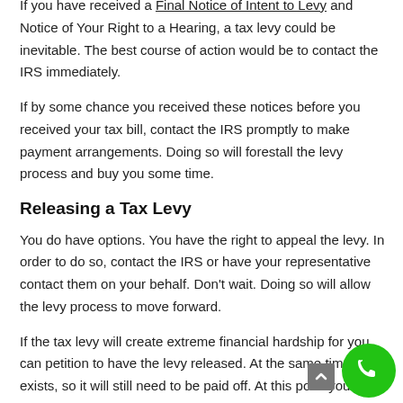If you have received a Final Notice of Intent to Levy and Notice of Your Right to a Hearing, a tax levy could be inevitable. The best course of action would be to contact the IRS immediately.
If by some chance you received these notices before you received your tax bill, contact the IRS promptly to make payment arrangements. Doing so will forestall the levy process and buy you some time.
Releasing a Tax Levy
You do have options. You have the right to appeal the levy. In order to do so, contact the IRS or have your representative contact them on your behalf. Don't wait. Doing so will allow the levy process to move forward.
If the tax levy will create extreme financial hardship for you can petition to have the levy released. At the same time t still exists, so it will still need to be paid off. At this point you or